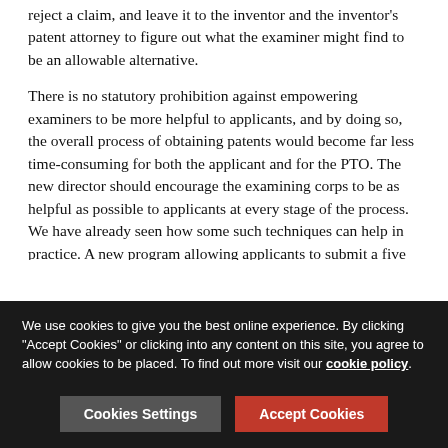reject a claim, and leave it to the inventor and the inventor's patent attorney to figure out what the examiner might find to be an allowable alternative.
There is no statutory prohibition against empowering examiners to be more helpful to applicants, and by doing so, the overall process of obtaining patents would become far less time-consuming for both the applicant and for the PTO. The new director should encourage the examining corps to be as helpful as possible to applicants at every stage of the process. We have already seen how some such techniques can help in practice. A new program allowing applicants to submit a five page memo to a panel of three examiners before beginning formal appeal of a rejected application has been well received by the patent bar and often results in final rejections being withdrawn. This sort of approach should be
We use cookies to give you the best online experience. By clicking "Accept Cookies" or clicking into any content on this site, you agree to allow cookies to be placed. To find out more visit our cookie policy.